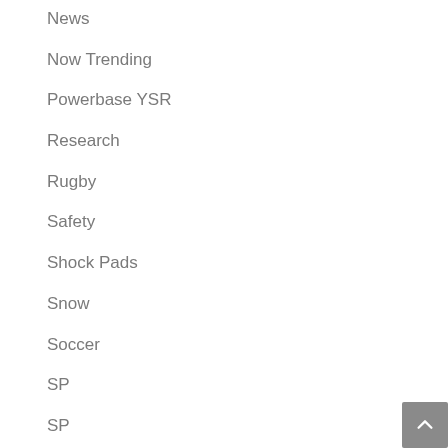News
Now Trending
Powerbase YSR
Research
Rugby
Safety
Shock Pads
Snow
Soccer
SP
SP
Staff Picks
Technology
Testing
The Latest